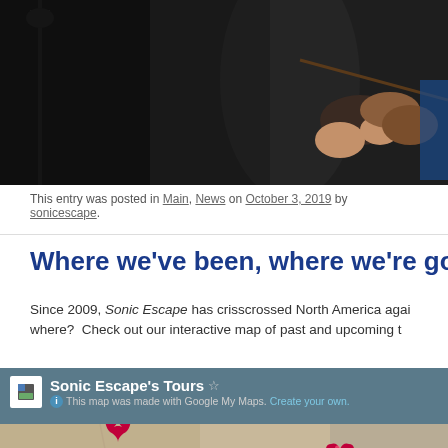[Figure (photo): Musician playing violin on stage, dark background with microphone stand visible on the left]
This entry was posted in Main, News on October 3, 2019 by sonicescape.
Where we've been, where we're going
Since 2009, Sonic Escape has crisscrossed North America again and again. But where? Check out our interactive map of past and upcoming t…
[Figure (screenshot): Google My Maps embed titled 'Sonic Escape's Tours' showing a partial map with location pins in red/pink heart shapes]